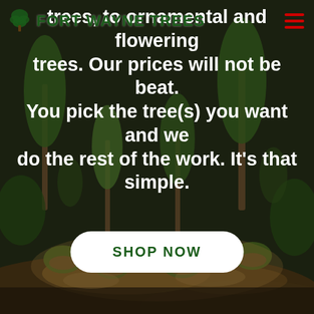[Figure (photo): Aerial nighttime view of a tree nursery with various trees and shrubs lit from below, showing balled and burlapped trees ready for sale]
FORT WAYNE TREES [logo with tree icon]
trees, to ornamental and flowering trees. Our prices will not be beat. You pick the tree(s) you want and we do the rest of the work. It's that simple.
SHOP NOW